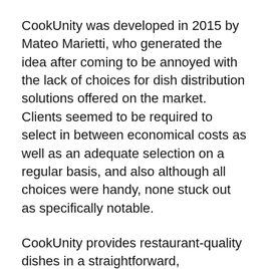CookUnity was developed in 2015 by Mateo Marietti, who generated the idea after coming to be annoyed with the lack of choices for dish distribution solutions offered on the market. Clients seemed to be required to select in between economical costs as well as an adequate selection on a regular basis, and also although all choices were handy, none stuck out as specifically notable.
CookUnity provides restaurant-quality dishes in a straightforward, subscription-based model that is easy to use. Premium specials are offered at a low cost thanks to the service, which attaches professional chefs with everyday customers. CookUnity advertises itself as being a chef-driven...